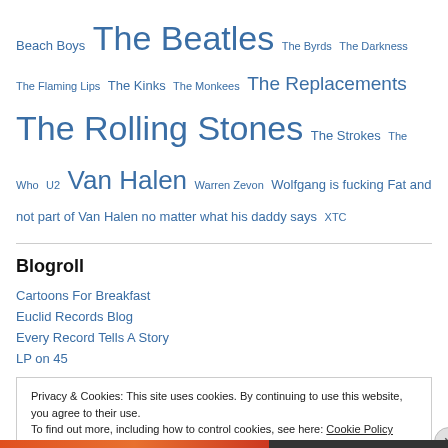Beach Boys The Beatles The Byrds The Darkness The Flaming Lips The Kinks The Monkees The Replacements The Rolling Stones The Strokes The Who U2 Van Halen Warren Zevon Wolfgang is fucking Fat and not part of Van Halen no matter what his daddy says XTC
Blogroll
Cartoons For Breakfast
Euclid Records Blog
Every Record Tells A Story
LP on 45
Privacy & Cookies: This site uses cookies. By continuing to use this website, you agree to their use. To find out more, including how to control cookies, see here: Cookie Policy
Close and accept